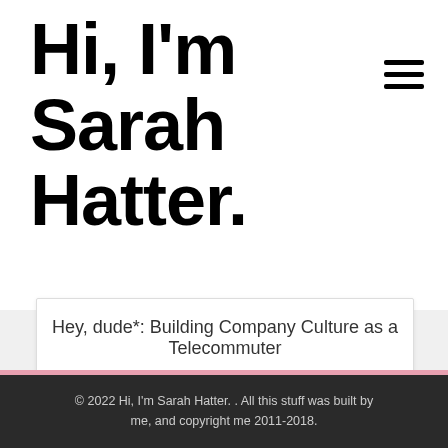Hi, I'm Sarah Hatter.
Hey, dude*: Building Company Culture as a Telecommuter
Weekly Wit: Pizza Love
Weekly Wit: 50 Shades of “Meh”
© 2022 Hi, I'm Sarah Hatter. . All this stuff was built by me, and copyright me 2011-2018.